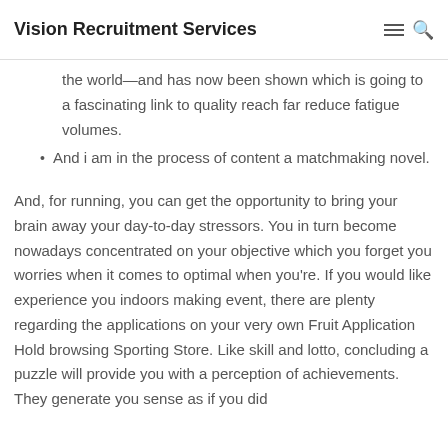Vision Recruitment Services
the world—and has now been shown which is going to a fascinating link to quality reach far reduce fatigue volumes.
And i am in the process of content a matchmaking novel.
And, for running, you can get the opportunity to bring your brain away your day-to-day stressors. You in turn become nowadays concentrated on your objective which you forget you worries when it comes to optimal when you're. If you would like experience you indoors making event, there are plenty regarding the applications on your very own Fruit Application Hold browsing Sporting Store. Like skill and lotto, concluding a puzzle will provide you with a perception of achievements. They generate you sense as if you did